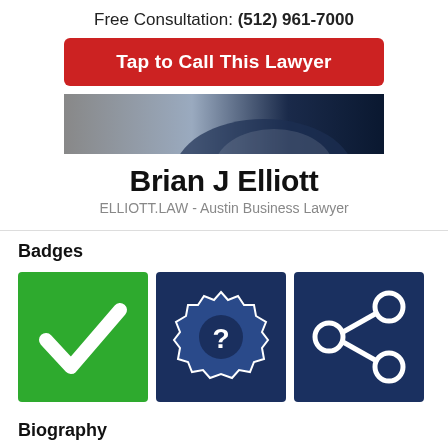Free Consultation: (512) 961-7000
[Figure (other): Red button: Tap to Call This Lawyer]
[Figure (photo): Partial photo of Brian J Elliott in a suit]
Brian J Elliott
ELLIOTT.LAW - Austin Business Lawyer
Badges
[Figure (infographic): Three badge icons: green checkmark badge, dark blue gear with question mark badge, dark blue share/network icon badge]
Biography